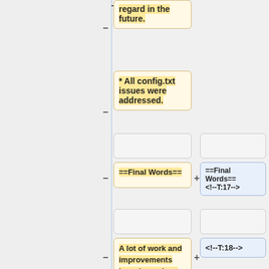regard in the future.
* All config.txt issues were addressed.
==Final Words==
==Final Words==
<!--T:17-->
A lot of work and improvements have been done and still much more is still pending, but the current status looks promising.
<!--T:18-->